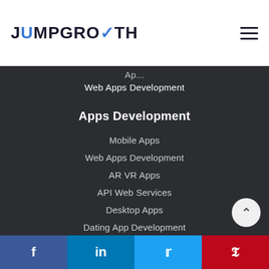JUMPGROWTH
Web Apps Development
Apps Development
Mobile Apps
Web Apps Development
AR VR Apps
API Web Services
Desktop Apps
Dating App Development
React Development
React Native Development
Facebook | LinkedIn | Twitter | Pinterest